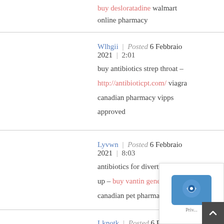buy desloratadine walmart online pharmacy
Wlhgii | Posted 6 Febbraio 2021 | 2:01
buy antibiotics strep throat – http://antibioticpt.com/ viagra canadian pharmacy vipps approved
Lyvwn | Posted 6 Febbraio 2021 | 8:03
antibiotics for diverticulitis flare up – buy vantin generic canadian pet pharmacy
Lknotk | Posted 6 Febbraio 2021